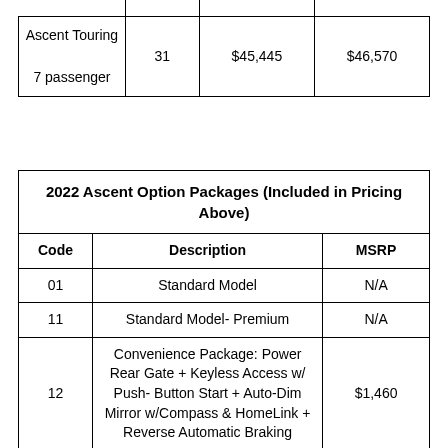|  |  |  |  |
| --- | --- | --- | --- |
| Ascent Touring
7 passenger | 31 | $45,445 | $46,570 |
| Code | Description | MSRP |
| --- | --- | --- |
| 01 | Standard Model | N/A |
| 11 | Standard Model- Premium | N/A |
| 12 | Convenience Package: Power Rear Gate + Keyless Access w/ Push- Button Start + Auto-Dim Mirror w/Compass & HomeLink + Reverse Automatic Braking | $1,460 |
| 21 | Standard Model- Onyx Edition and Limited | N/A |